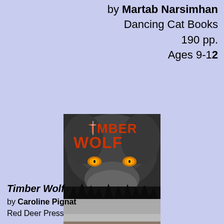by Martab Narsimhan
Dancing Cat Books
190 pp.
Ages 9-12
[Figure (photo): Book cover of 'Timber Wolf' by Caroline Pignat, showing a close-up of a wolf's eyes with orange text reading TIMBER WOLF at the top and author name Caroline Pignat at the bottom.]
Timber Wolf
by Caroline Pignat
Red Deer Press